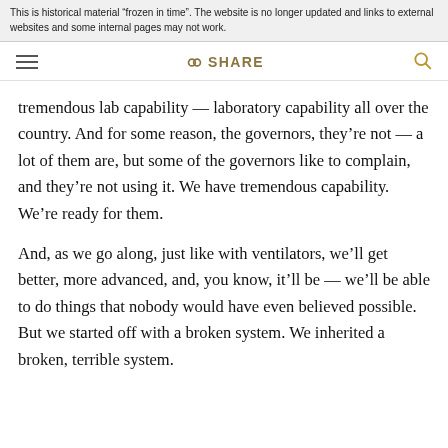This is historical material “frozen in time”. The website is no longer updated and links to external websites and some internal pages may not work.
tremendous lab capability — laboratory capability all over the country.  And for some reason, the governors, they’re not — a lot of them are, but some of the governors like to complain, and they’re not using it.  We have tremendous capability.  We’re ready for them.
And, as we go along, just like with ventilators, we’ll get better, more advanced, and, you know, it’ll be — we’ll be able to do things that nobody would have even believed possible.  But we started off with a broken system.  We inherited a broken, terrible system.